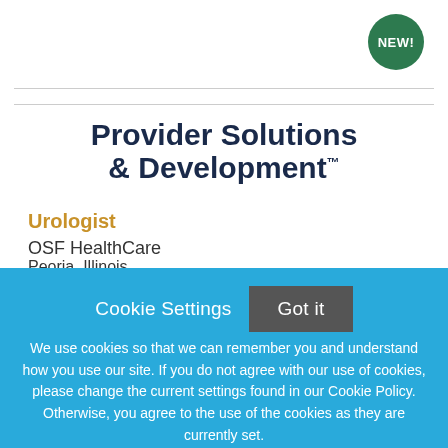[Figure (logo): Green circular badge with text NEW! in white]
Provider Solutions & Development™
Urologist
OSF HealthCare
Peoria, Illinois
Cookie Settings
Got it
We use cookies so that we can remember you and understand how you use our site. If you do not agree with our use of cookies, please change the current settings found in our Cookie Policy. Otherwise, you agree to the use of the cookies as they are currently set.